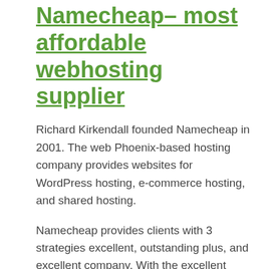Namecheap– most affordable webhosting supplier
Richard Kirkendall founded Namecheap in 2001. The web Phoenix-based hosting company provides websites for WordPress hosting, e-commerce hosting, and shared hosting.
Namecheap provides clients with 3 strategies excellent, outstanding plus, and excellent company. With the excellent business, you get daily backups, unmetered bandwidth, and a 50 GB area.
It has a strong, dependable uptime of 99.98% and a typical speed of 1.00 s.